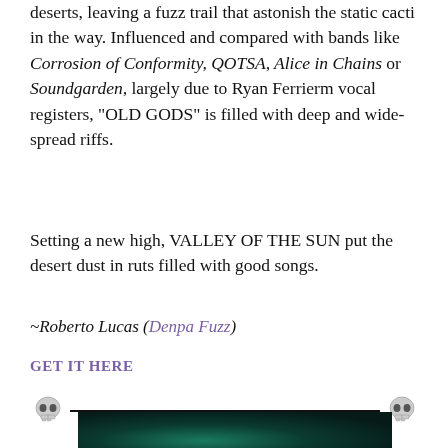deserts, leaving a fuzz trail that astonish the static cacti in the way. Influenced and compared with bands like Corrosion of Conformity, QOTSA, Alice in Chains or Soundgarden, largely due to Ryan Ferrierm vocal registers, "OLD GODS" is filled with deep and wide-spread riffs.
Setting a new high, VALLEY OF THE SUN put the desert dust in ruts filled with good songs.
~Roberto Lucas (Denpa Fuzz)
GET IT HERE
[Figure (illustration): Horizontal divider with skull icons on each end and a black line between them]
[Figure (photo): Dark teal/green photograph at the bottom of the page]